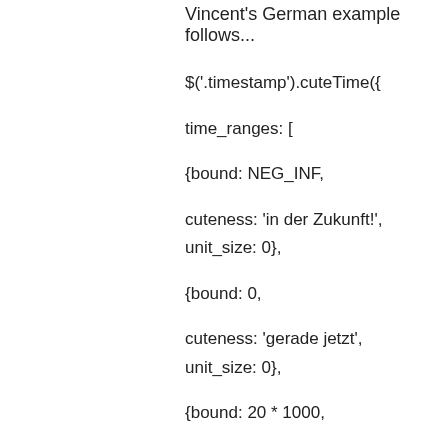Vincent's German example follows...
$('.timestamp').cuteTime({
time_ranges: [
{bound: NEG_INF,
cuteness: 'in der Zukunft!', unit_size: 0},
{bound: 0,
cuteness: 'gerade jetzt', unit_size: 0},
{bound: 20 * 1000,
cuteness: 'vor ein paar Sekunden', unit_size: 0},
{bound: 60 * 1000,
cuteness: 'vor einer Minute', unit_size: 0},
{bound: 60 * 1000 * 2,
cuteness: ' Minuten her', unit_size: 60 * 1000},
{bound: 60 * 1000 * 60,
cuteness: 'vor einer Stunde', unit_size: 0},
{bound: 60 * 1000 * 60 * 2,